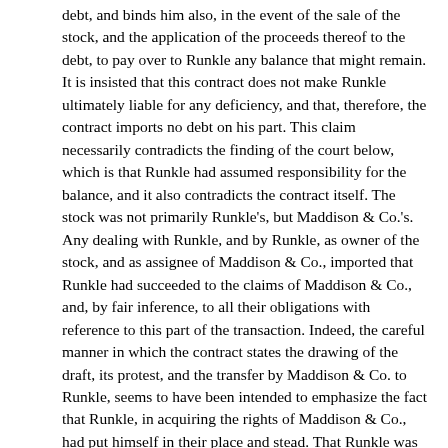debt, and binds him also, in the event of the sale of the stock, and the application of the proceeds thereof to the debt, to pay over to Runkle any balance that might remain. It is insisted that this contract does not make Runkle ultimately liable for any deficiency, and that, therefore, the contract imports no debt on his part. This claim necessarily contradicts the finding of the court below, which is that Runkle had assumed responsibility for the balance, and it also contradicts the contract itself. The stock was not primarily Runkle's, but Maddison & Co.'s. Any dealing with Runkle, and by Runkle, as owner of the stock, and as assignee of Maddison & Co., imported that Runkle had succeeded to the claims of Maddison & Co., and, by fair inference, to all their obligations with reference to this part of the transaction. Indeed, the careful manner in which the contract states the drawing of the draft, its protest, and the transfer by Maddison & Co. to Runkle, seems to have been intended to emphasize the fact that Runkle, in acquiring the rights of Maddison & Co., had put himself in their place and stead. That Runkle was the general assignee of Maddison & Co., and considered himself as not only entitled to their rights, but also as the representative of their obligations in connection with the loan and waterworks contract, results from the terms of the power of attorney, in which he authorizes the agent not only to acquire Maddison & Co.'s rights, but to stipulate for the discharge of their obligation. In other words, the